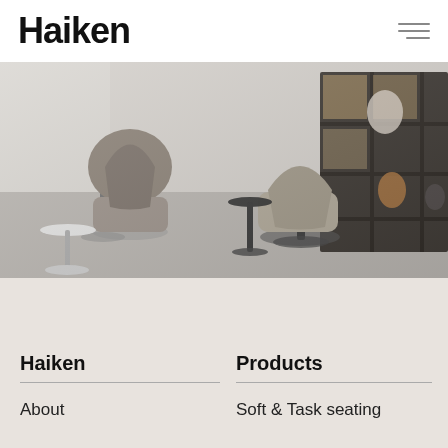Haiken
[Figure (photo): Interior design showroom featuring modern lounge chairs with pedestal bases, a small round side table, and a dark shelving unit with decorative objects, photographed in cool grey and warm neutral tones.]
Haiken
Products
About
Soft & Task seating